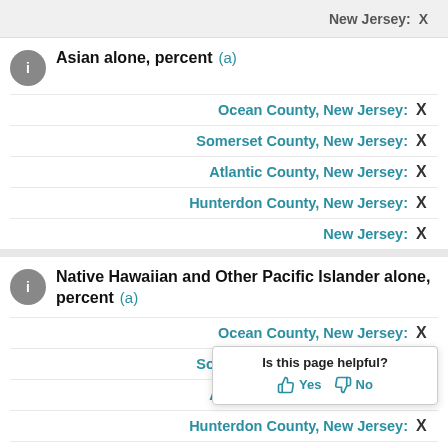New Jersey: X
Asian alone, percent (a)
Ocean County, New Jersey: X
Somerset County, New Jersey: X
Atlantic County, New Jersey: X
Hunterdon County, New Jersey: X
New Jersey: X
Native Hawaiian and Other Pacific Islander alone, percent (a)
Ocean County, New Jersey: X
Somerset County, New Jersey: X
Atlantic County, New Jersey: X
Hunterdon County, New Jersey: X
X
Is this page helpful? Yes No